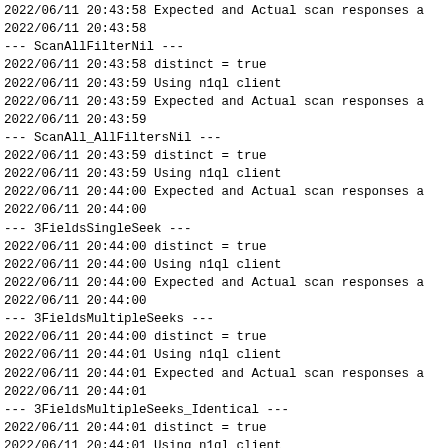2022/06/11 20:43:58 Expected and Actual scan responses a
2022/06/11 20:43:58
--- ScanAllFilterNil ---
2022/06/11 20:43:58 distinct = true
2022/06/11 20:43:59 Using n1ql client
2022/06/11 20:43:59 Expected and Actual scan responses a
2022/06/11 20:43:59
--- ScanAll_AllFiltersNil ---
2022/06/11 20:43:59 distinct = true
2022/06/11 20:43:59 Using n1ql client
2022/06/11 20:44:00 Expected and Actual scan responses a
2022/06/11 20:44:00
--- 3FieldsSingleSeek ---
2022/06/11 20:44:00 distinct = true
2022/06/11 20:44:00 Using n1ql client
2022/06/11 20:44:00 Expected and Actual scan responses a
2022/06/11 20:44:00
--- 3FieldsMultipleSeeks ---
2022/06/11 20:44:00 distinct = true
2022/06/11 20:44:01 Using n1ql client
2022/06/11 20:44:01 Expected and Actual scan responses a
2022/06/11 20:44:01
--- 3FieldsMultipleSeeks_Identical ---
2022/06/11 20:44:01 distinct = true
2022/06/11 20:44:01 Using n1ql client
2022/06/11 20:44:01 Expected and Actual scan responses a
2022/06/11 20:44:01 indexes are: index_company, index_co
2022/06/11 20:44:01 fields are: [company], [company name
2022/06/11 20:44:01
--- SingleIndexProjectFirst ---
2022/06/11 20:44:01 distinct = true